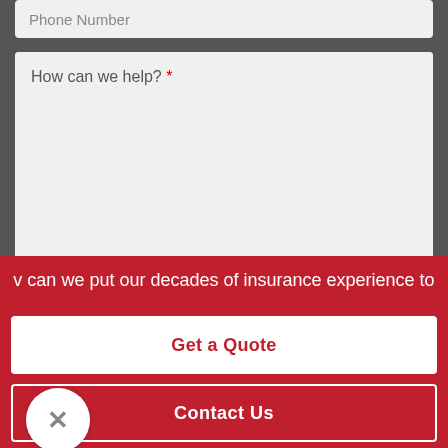Phone Number
How can we help? *
Please do not include sensitive, private information in this area.
Submit
v can we put our decades of insurance experience to
Get a Quote
Contact Us